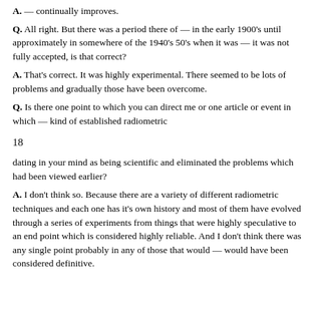A. — continually improves.
Q. All right. But there was a period there of — in the early 1900's until approximately in somewhere of the 1940's 50's when it was — it was not fully accepted, is that correct?
A. That's correct. It was highly experimental. There seemed to be lots of problems and gradually those have been overcome.
Q. Is there one point to which you can direct me or one article or event in which — kind of established radiometric
18
dating in your mind as being scientific and eliminated the problems which had been viewed earlier?
A. I don't think so. Because there are a variety of different radiometric techniques and each one has it's own history and most of them have evolved through a series of experiments from things that were highly speculative to an end point which is considered highly reliable. And I don't think there was any single point probably in any of those that would — would have been considered definitive.